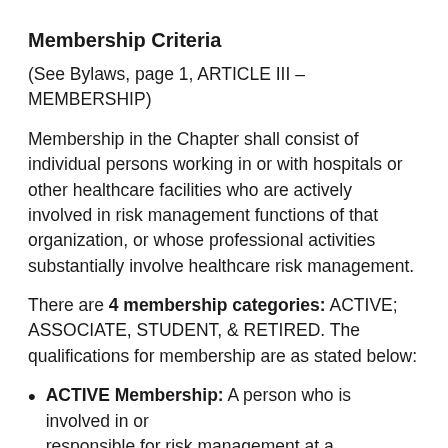Membership Criteria
(See Bylaws, page 1, ARTICLE III – MEMBERSHIP)
Membership in the Chapter shall consist of individual persons working in or with hospitals or other healthcare facilities who are actively involved in risk management functions of that organization, or whose professional activities substantially involve healthcare risk management.
There are 4 membership categories: ACTIVE; ASSOCIATE, STUDENT, & RETIRED. The qualifications for membership are as stated below:
ACTIVE Membership: A person who is involved in or responsible for risk management at a healthcare...